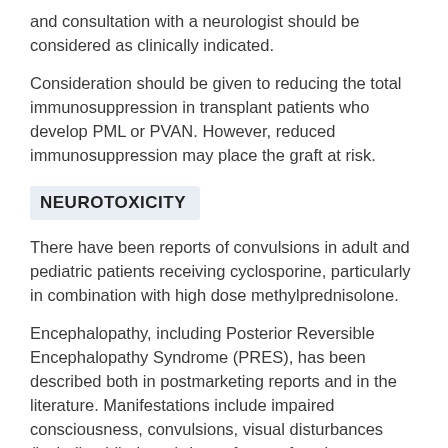and consultation with a neurologist should be considered as clinically indicated.
Consideration should be given to reducing the total immunosuppression in transplant patients who develop PML or PVAN. However, reduced immunosuppression may place the graft at risk.
NEUROTOXICITY
There have been reports of convulsions in adult and pediatric patients receiving cyclosporine, particularly in combination with high dose methylprednisolone.
Encephalopathy, including Posterior Reversible Encephalopathy Syndrome (PRES), has been described both in postmarketing reports and in the literature. Manifestations include impaired consciousness, convulsions, visual disturbances (including blindness), loss of motor function, movement disorders and psychiatric disturbances. In many cases, changes in the white matter have been detected using imaging